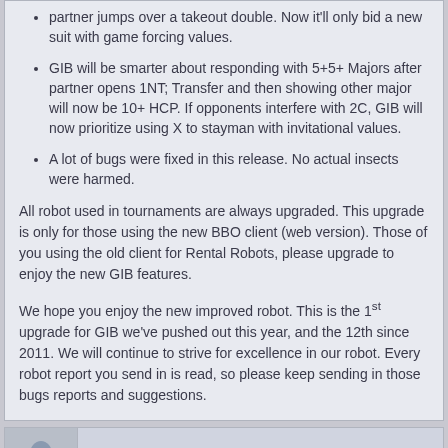partner jumps over a takeout double. Now it'll only bid a new suit with game forcing values.
GIB will be smarter about responding with 5+5+ Majors after partner opens 1NT; Transfer and then showing other major will now be 10+ HCP. If opponents interfere with 2C, GIB will now prioritize using X to stayman with invitational values.
A lot of bugs were fixed in this release. No actual insects were harmed.
All robot used in tournaments are always upgraded. This upgrade is only for those using the new BBO client (web version). Those of you using the old client for Rental Robots, please upgrade to enjoy the new GIB features.
We hope you enjoy the new improved robot. This is the 1st upgrade for GIB we've pushed out this year, and the 12th since 2011. We will continue to strive for excellence in our robot. Every robot report you send in is read, so please keep sending in those bugs reports and suggestions.
1eyedjack
2013-November-04, 09:43